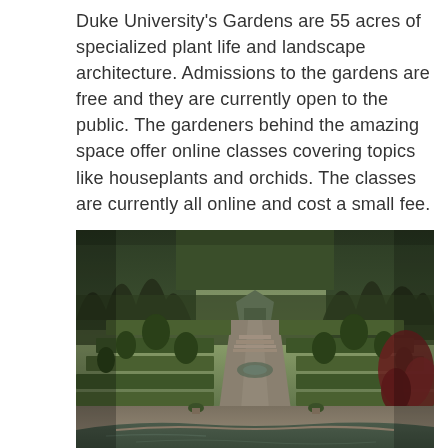Duke University's Gardens are 55 acres of specialized plant life and landscape architecture. Admissions to the gardens are free and they are currently open to the public. The gardeners behind the amazing space offer online classes covering topics like houseplants and orchids. The classes are currently all online and cost a small fee.
[Figure (photo): Aerial-perspective photograph of Duke University Gardens showing formal terraced garden beds, topiary trees, stone pathways, staircases, a central fountain, surrounding dense forest, a small gazebo structure in the background, a red Japanese maple tree on the right, and a reflecting pool in the foreground at dusk.]